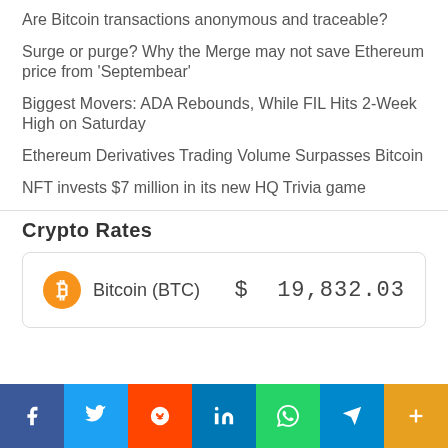Are Bitcoin transactions anonymous and traceable?
Surge or purge? Why the Merge may not save Ethereum price from 'Septembear'
Biggest Movers: ADA Rebounds, While FIL Hits 2-Week High on Saturday
Ethereum Derivatives Trading Volume Surpasses Bitcoin
NFT invests $7 million in its new HQ Trivia game
Crypto Rates
| Cryptocurrency | Price |
| --- | --- |
| Bitcoin (BTC) | $ 19,832.03 |